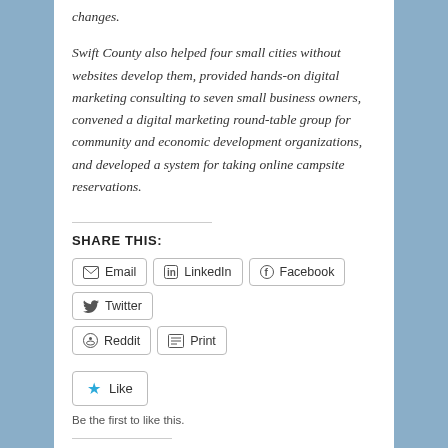changes.
Swift County also helped four small cities without websites develop them, provided hands-on digital marketing consulting to seven small business owners, convened a digital marketing round-table group for community and economic development organizations, and developed a system for taking online campsite reservations.
SHARE THIS:
Email | LinkedIn | Facebook | Twitter | Reddit | Print
Like — Be the first to like this.
RELATED